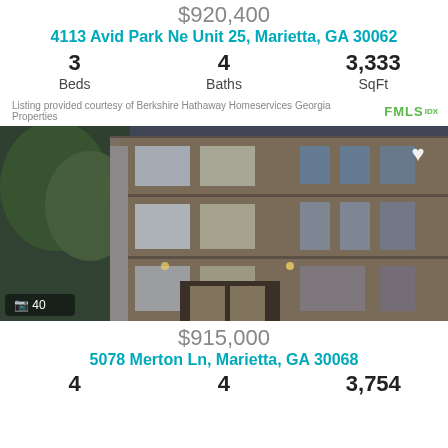$920,400
4113 Avid Park Ne Unit 25, Marietta, GA 30062
| Beds | Baths | SqFt |
| --- | --- | --- |
| 3 | 4 | 3,333 |
Listing provided courtesy of Berkshire Hathaway Homeservices Georgia Properties FMLS IDX
[Figure (photo): Exterior photo of a multi-story brick townhouse/condo building with trees on the left side. Photo count overlay shows camera icon and '40'. Heart icon in upper right corner.]
$915,000
5078 Merton Ln, Marietta, GA 30068
| Beds | Baths | SqFt |
| --- | --- | --- |
| 4 | 4 | 3,754 |